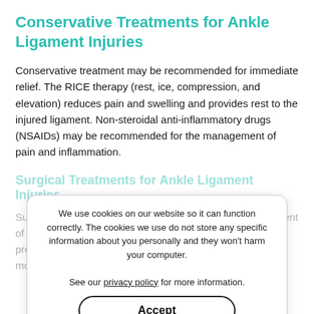Conservative Treatments for Ankle Ligament Injuries
Conservative treatment may be recommended for immediate relief. The RICE therapy (rest, ice, compression, and elevation) reduces pain and swelling and provides rest to the injured ligament. Non-steroidal anti-inflammatory drugs (NSAIDs) may be recommended for the management of pain and inflammation.
Surgical Treatments for Ankle Ligament Injuries
Surgery is not commonly recommended for the management of ankle ligament injuries. If conservative treatments fail to provide relief and ankle joint instability persists even after months of rehabilitation, surgery may be required.
We use cookies on our website so it can function correctly. The cookies we use do not store any specific information about you personally and they won't harm your computer.

See our privacy policy for more information.
Accept